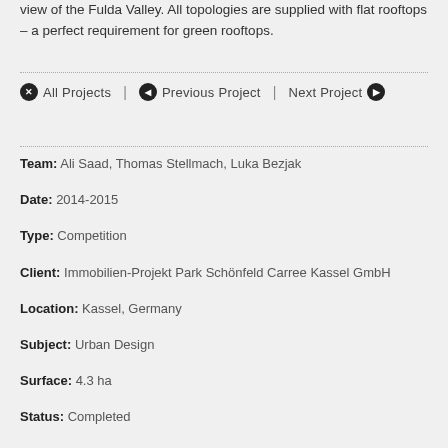view of the Fulda Valley. All topologies are supplied with flat rooftops – a perfect requirement for green rooftops.
✕ All Projects  |  ◀ Previous Project  |  Next Project ▶
Team: Ali Saad, Thomas Stellmach, Luka Bezjak
Date: 2014-2015
Type: Competition
Client: Immobilien-Projekt Park Schönfeld Carree Kassel GmbH
Location: Kassel, Germany
Subject: Urban Design
Surface: 4.3 ha
Status: Completed